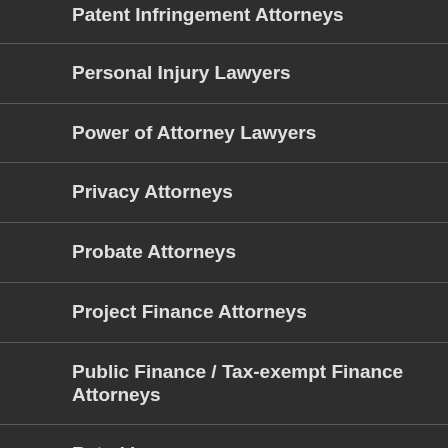Patent Infringement Attorneys
Personal Injury Lawyers
Power of Attorney Lawyers
Privacy Attorneys
Probate Attorneys
Project Finance Attorneys
Public Finance / Tax-exempt Finance Attorneys
Rated Lawyers
Real Estate Attorneys
Residential Real Estate Lawyers
Securities / Investment Fraud Attorneys